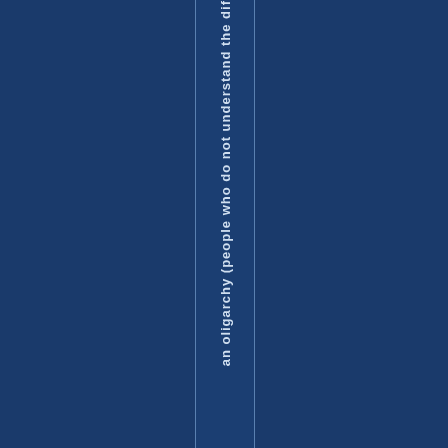an oligarchy (people who do not understand the dif